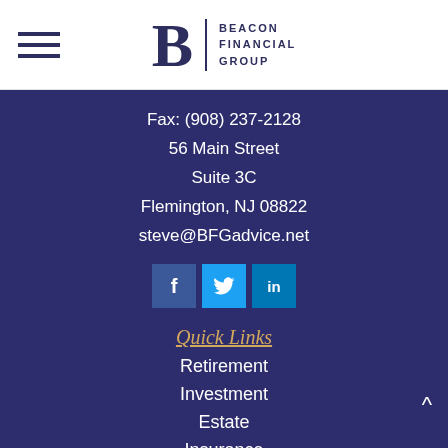[Figure (logo): Beacon Financial Group logo with hamburger menu icon on the left, a large B lettermark, vertical divider, and BEACON FINANCIAL GROUP text]
Fax: (908) 237-2128
56 Main Street
Suite 3C
Flemington, NJ 08822
steve@BFGadvice.net
[Figure (other): Social media icons: Facebook (dark blue), Twitter (light blue), LinkedIn (blue)]
Quick Links
Retirement
Investment
Estate
Insurance
Tax
Money